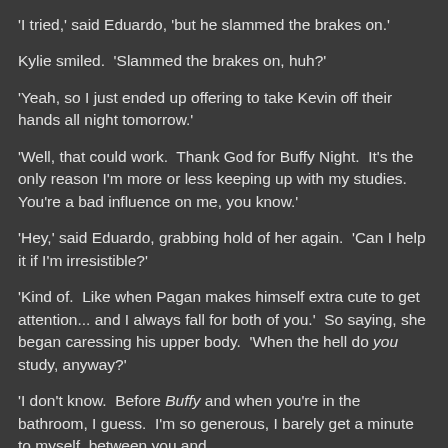'I tried,' said Eduardo, 'but he slammed the brakes on.'
Kylie smiled.  'Slammed the brakes on, huh?'
'Yeah, so I just ended up offering to take Kevin off their hands all night tomorrow.'
'Well, that could work.  Thank God for Buffy Night.  It's the only reason I'm more or less keeping up with my studies.  You're a bad influence on me, you know.'
'Hey,' said Eduardo, grabbing hold of her again.  'Can I help it if I'm irresistible?'
'Kind of.  Like when Pagan makes himself extra cute to get attention... and I always fall for both of you.'  So saying, she began caressing his upper body.  'When the hell do you study, anyway?'
'I don't know.  Before Buffy and when you're in the bathroom, I guess.  I'm so generous, I barely get a minute to myself, between you and